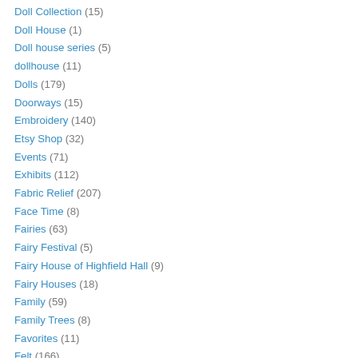Doll Collection (15)
Doll House (1)
Doll house series (5)
dollhouse (11)
Dolls (179)
Doorways (15)
Embroidery (140)
Etsy Shop (32)
Events (71)
Exhibits (112)
Fabric Relief (207)
Face Time (8)
Fairies (63)
Fairy Festival (5)
Fairy House of Highfield Hall (9)
Fairy Houses (18)
Family (59)
Family Trees (8)
Favorites (11)
Felt (166)